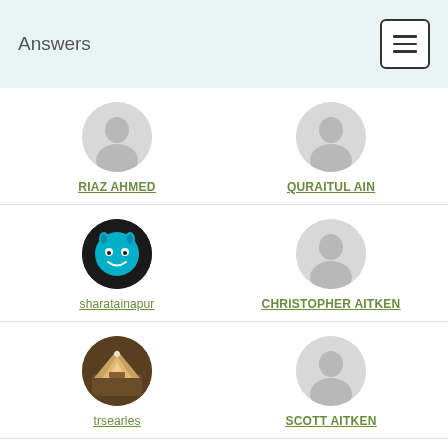Answers
[Figure (screenshot): User profile grid showing avatars and names: RIAZ AHMED, QURAITUL AIN, sharatainapur, CHRISTOPHER AITKEN, trsearles, SCOTT AITKEN]